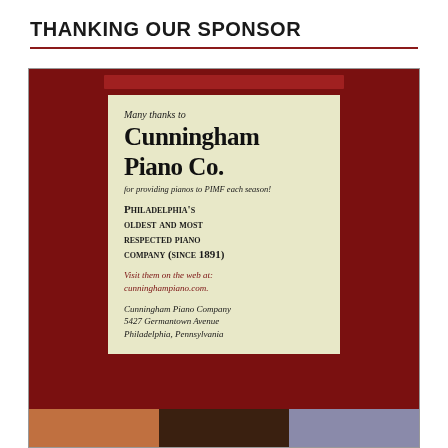THANKING OUR SPONSOR
[Figure (illustration): Sponsor advertisement for Cunningham Piano Co. with dark red background and cream inner card. Contains text: Many thanks to Cunningham Piano Co. for providing pianos to PIMF each season! Philadelphia's oldest and most respected piano company (since 1891). Visit them on the web at: cunninghampiano.com. Cunningham Piano Company 5427 Germantown Avenue Philadelphia, Pennsylvania. Photo strip at bottom with images.]